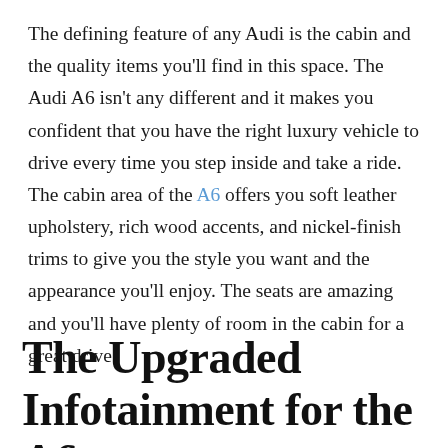The defining feature of any Audi is the cabin and the quality items you'll find in this space. The Audi A6 isn't any different and it makes you confident that you have the right luxury vehicle to drive every time you step inside and take a ride. The cabin area of the A6 offers you soft leather upholstery, rich wood accents, and nickel-finish trims to give you the style you want and the appearance you'll enjoy. The seats are amazing and you'll have plenty of room in the cabin for a great drive.
The Upgraded Infotainment for the A6